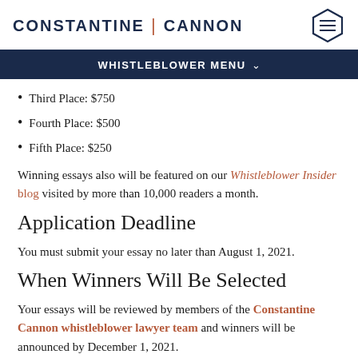CONSTANTINE | CANNON
WHISTLEBLOWER MENU
Third Place: $750
Fourth Place: $500
Fifth Place: $250
Winning essays also will be featured on our Whistleblower Insider blog visited by more than 10,000 readers a month.
Application Deadline
You must submit your essay no later than August 1, 2021.
When Winners Will Be Selected
Your essays will be reviewed by members of the Constantine Cannon whistleblower lawyer team and winners will be announced by December 1, 2021.